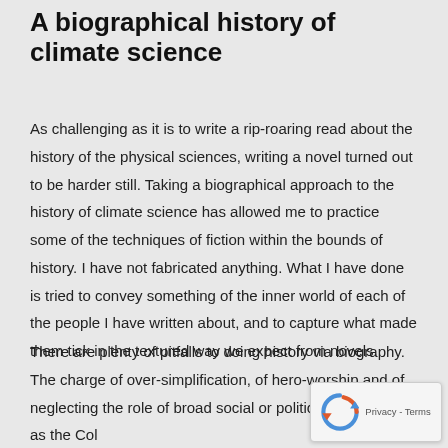A biographical history of climate science
As challenging as it is to write a rip-roaring read about the history of the physical sciences, writing a novel turned out to be harder still. Taking a biographical approach to the history of climate science has allowed me to practice some of the techniques of fiction within the bounds of history. I have not fabricated anything. What I have done is tried to convey something of the inner world of each of the people I have written about, and to capture what made them tick in the textured way we expect from novels.
There are plenty of pitfalls to doing history via biography. The charge of over-simplification, of hero-worship and of neglecting the role of broad social or political factors (such as the Col...